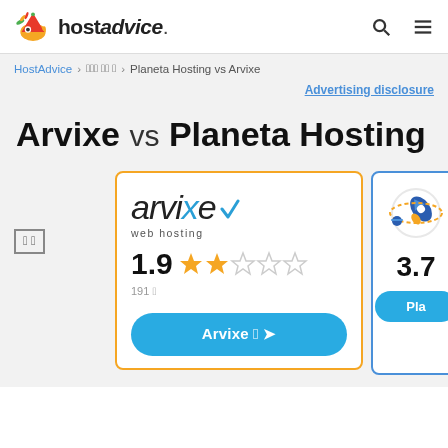hostadvice.
HostAdvice > 웹 호스팅 비교 목록 > Planeta Hosting vs Arvixe
Advertising disclosure
Arvixe vs Planeta Hosting
회사 비교
[Figure (other): Arvixe web hosting logo with checkmark, rating 1.9 stars (2 filled, 3 empty), 191 reviews, and blue button 'Arvixe 방문']
[Figure (other): Planeta Hosting partial card with rocket icon, rating 3.7, and blue 'Pla...' button]